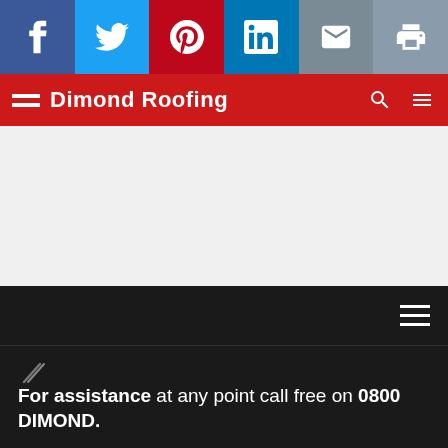[Figure (screenshot): Social media share bar with icons for Facebook, Twitter, Pinterest, LinkedIn, Email, and Print]
Dimond Roofing
[Figure (screenshot): Light grey content area (blank)]
[Figure (screenshot): Dark navigation bar with hamburger menu icon on right]
For assistance at any point call free on 0800 DIMOND.